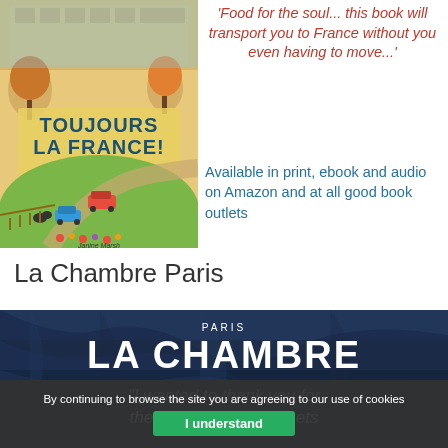[Figure (illustration): Book cover for 'Toujours La France! Living the Dream in Rural France' by Janine Marsh, showing a countryside scene with trees, a car, and animals]
'Food for the soul... this book will transport you to France without you even having to move...'
Available in print, ebook and audio on Amazon and at all good book outlets
La Chambre Paris
[Figure (photo): Dark blue fabric background with text 'PARIS LA CHAMBRE' and a quote starting with 'I wanted to thank you for the quality of your sheets']
By continuing to browse the site you are agreeing to our use of cookies
I understand